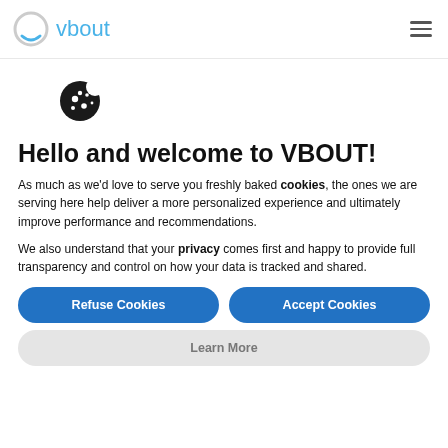vbout
[Figure (logo): VBOUT logo with circular icon and blue text]
[Figure (illustration): Cookie icon - dark circle with chocolate chip cookie dots and bite]
Hello and welcome to VBOUT!
As much as we'd love to serve you freshly baked cookies, the ones we are serving here help deliver a more personalized experience and ultimately improve performance and recommendations.
We also understand that your privacy comes first and happy to provide full transparency and control on how your data is tracked and shared.
Refuse Cookies | Accept Cookies | Learn More